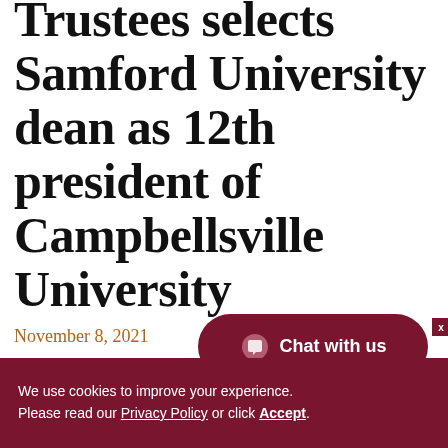Trustees selects Samford University dean as 12th president of Campbellsville University
November 8, 2021
[Figure (other): Chat with us button - dark red rounded pill button with speech bubble icon and text 'Chat with us']
We use cookies to improve your experience. Please read our Privacy Policy or click Accept.